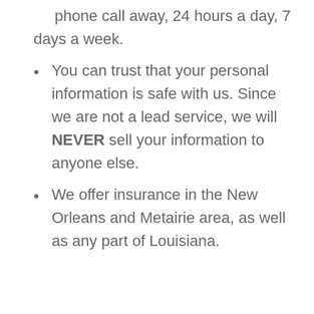phone call away, 24 hours a day, 7 days a week.
You can trust that your personal information is safe with us. Since we are not a lead service, we will NEVER sell your information to anyone else.
We offer insurance in the New Orleans and Metairie area, as well as any part of Louisiana.